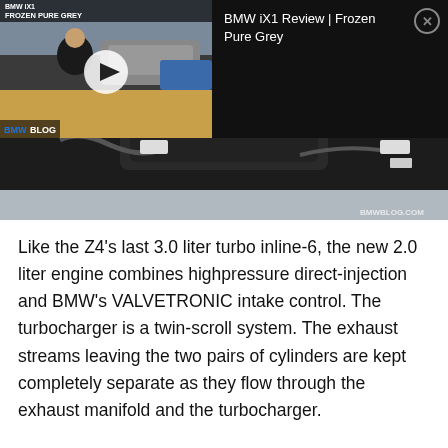[Figure (screenshot): A screenshot showing a BMW engine bay photo (top) with a video overlay thumbnail in the top-left corner showing a BMW iX1 Review video (Frozen Pure Grey), and a black panel on the right with the video title 'BMW iX1 Review | Frozen Pure Grey' and a close button.]
Like the Z4's last 3.0 liter turbo inline-6, the new 2.0 liter engine combines highpressure direct-injection and BMW's VALVETRONIC intake control. The turbocharger is a twin-scroll system. The exhaust streams leaving the two pairs of cylinders are kept completely separate as they flow through the exhaust manifold and the turbocharger.
With 240 horsepower between 5,000 and 6,500